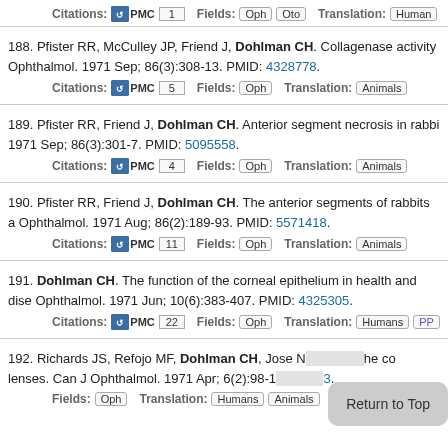Citations: PMC 1   Fields: Oph Oto   Translation: Human
188. Pfister RR, McCulley JP, Friend J, Dohlman CH. Collagenase activity ... Ophthalmol. 1971 Sep; 86(3):308-13. PMID: 4328778.
Citations: PMC 5   Fields: Oph   Translation: Animals
189. Pfister RR, Friend J, Dohlman CH. Anterior segment necrosis in rabbit... 1971 Sep; 86(3):301-7. PMID: 5095558.
Citations: PMC 4   Fields: Oph   Translation: Animals
190. Pfister RR, Friend J, Dohlman CH. The anterior segments of rabbits a... Ophthalmol. 1971 Aug; 86(2):189-93. PMID: 5571418.
Citations: PMC 11   Fields: Oph   Translation: Animals
191. Dohlman CH. The function of the corneal epithelium in health and dis... Ophthalmol. 1971 Jun; 10(6):383-407. PMID: 4325305.
Citations: PMC 22   Fields: Oph   Translation: Humans PP...
192. Richards JS, Refojo MF, Dohlman CH, Jose N... the co... lenses. Can J Ophthalmol. 1971 Apr; 6(2):98-1... 3.
Fields: Oph   Translation: Humans Animals